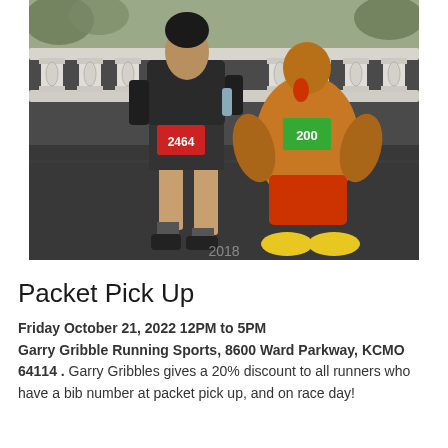[Figure (photo): Two race runners in costume posing in front of a stone balustrade. Left runner wears dark clothing with a red race bib numbered 2464. Right runner wears a brown and orange turkey costume with a green race bib numbered 200. Both stand on a dark ground surface.]
Packet Pick Up
Friday October 21, 2022 12PM to 5PM Garry Gribble Running Sports, 8600 Ward Parkway, KCMO 64114 . Garry Gribbles gives a 20% discount to all runners who have a bib number at packet pick up, and on race day!